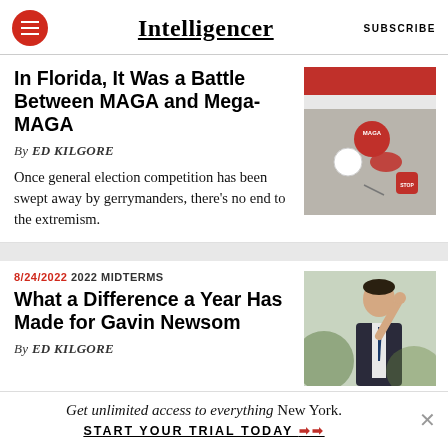Intelligencer | SUBSCRIBE
In Florida, It Was a Battle Between MAGA and Mega-MAGA
By ED KILGORE
Once general election competition has been swept away by gerrymanders, there's no end to the extremism.
[Figure (photo): Photo of a shirt with MAGA pin and political buttons including a red Florida-shaped pin and a Stop sign button]
8/24/2022  2022 MIDTERMS
What a Difference a Year Has Made for Gavin Newsom
By ED KILGORE
[Figure (photo): Photo of Gavin Newsom in a suit pointing upward]
Get unlimited access to everything New York.
START YOUR TRIAL TODAY ➤➤